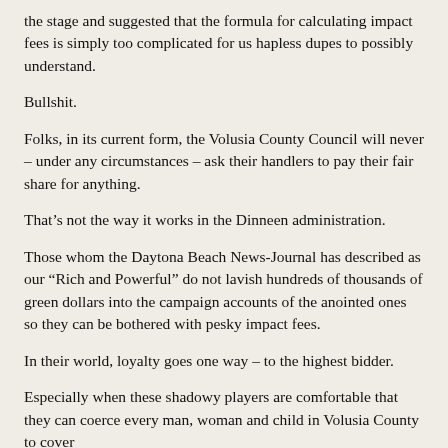the stage and suggested that the formula for calculating impact fees is simply too complicated for us hapless dupes to possibly understand.
Bullshit.
Folks, in its current form, the Volusia County Council will never – under any circumstances – ask their handlers to pay their fair share for anything.
That's not the way it works in the Dinneen administration.
Those whom the Daytona Beach News-Journal has described as our “Rich and Powerful” do not lavish hundreds of thousands of green dollars into the campaign accounts of the anointed ones so they can be bothered with pesky impact fees.
In their world, loyalty goes one way – to the highest bidder.
Especially when these shadowy players are comfortable that they can coerce every man, woman and child in Volusia County to cover the…